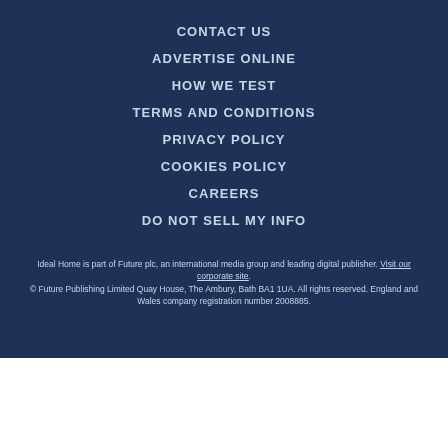CONTACT US
ADVERTISE ONLINE
HOW WE TEST
TERMS AND CONDITIONS
PRIVACY POLICY
COOKIES POLICY
CAREERS
DO NOT SELL MY INFO
Ideal Home is part of Future plc, an international media group and leading digital publisher. Visit our corporate site. © Future Publishing Limited Quay House, The Ambury, Bath BA1 1UA. All rights reserved. England and Wales company registration number 2008885.